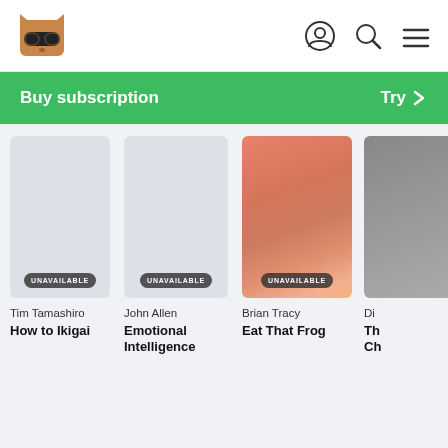Perlego app header with logo, user icon, search icon, and menu icon
Buy subscription  Try >
[Figure (screenshot): Book card: Tim Tamashiro – How to Ikigai, UNAVAILABLE badge, gray cover]
[Figure (screenshot): Book card: John Allen – Emotional Intelligence, UNAVAILABLE badge, gray cover]
[Figure (screenshot): Book card: Brian Tracy – Eat That Frog, UNAVAILABLE badge, salmon/orange gradient cover]
[Figure (screenshot): Partially visible book card (gray), author name starts with 'Di', title starts with 'Th' 'Ch']